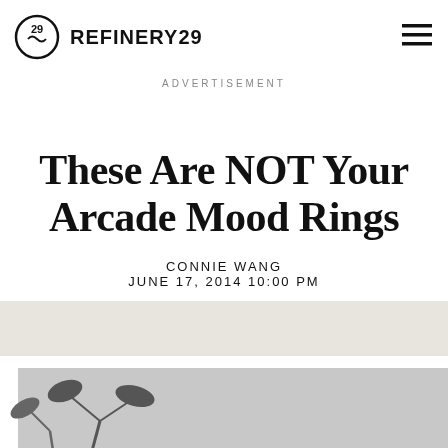REFINERY29
ADVERTISEMENT
These Are NOT Your Arcade Mood Rings
CONNIE WANG
JUNE 17, 2014 10:00 PM
[Figure (photo): A person with dark hair leaning over a white surface with plants visible, shown partially, black and white tones with white framing]